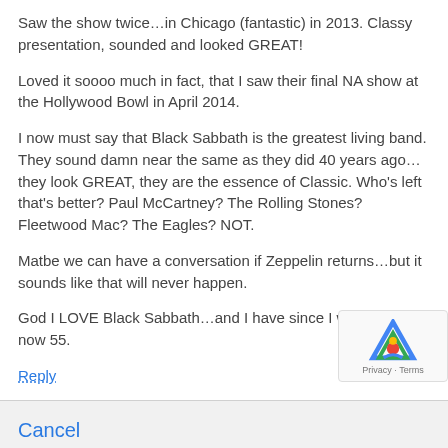Saw the show twice…in Chicago (fantastic) in 2013. Classy presentation, sounded and looked GREAT!
Loved it soooo much in fact, that I saw their final NA show at the Hollywood Bowl in April 2014.
I now must say that Black Sabbath is the greatest living band. They sound damn near the same as they did 40 years ago…they look GREAT, they are the essence of Classic. Who's left that's better? Paul McCartney? The Rolling Stones? Fleetwood Mac? The Eagles? NOT.
Matbe we can have a conversation if Zeppelin returns…but it sounds like that will never happen.
God I LOVE Black Sabbath…and I have since I was 12. I'm now 55.
Reply
Cancel
Leave a Reply to Rick